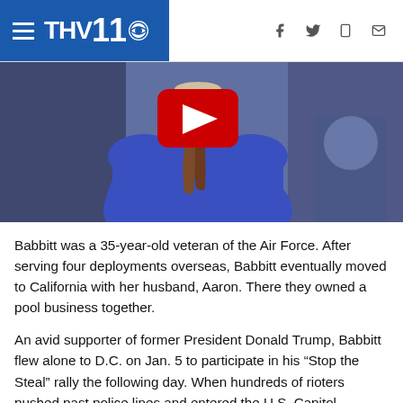THV11 CBS — navigation header with hamburger menu and social icons
[Figure (photo): Video thumbnail showing a person with brown hair in a ponytail wearing a blue shirt, viewed from behind inside a vehicle. A red YouTube play button is visible at the top center.]
Babbitt was a 35-year-old veteran of the Air Force. After serving four deployments overseas, Babbitt eventually moved to California with her husband, Aaron. There they owned a pool business together.
An avid supporter of former President Donald Trump, Babbitt flew alone to D.C. on Jan. 5 to participate in his “Stop the Steal” rally the following day. When hundreds of rioters pushed past police lines and entered the U.S. Capitol Building, she entered with them. Video captured by an activist named John Sullivan, who streamed under the name “Jayden X,” shows Babbitt at the front of a crowd of